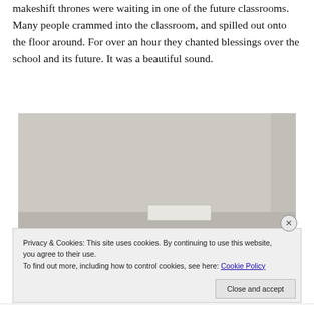makeshift thrones were waiting in one of the future classrooms. Many people crammed into the classroom, and spilled out onto the floor around. For over an hour they chanted blessings over the school and its future. It was a beautiful sound.
[Figure (photo): A photograph of what appears to be an interior room with light-colored walls, partially obscured by a cookie consent banner overlay.]
Privacy & Cookies: This site uses cookies. By continuing to use this website, you agree to their use.
To find out more, including how to control cookies, see here: Cookie Policy